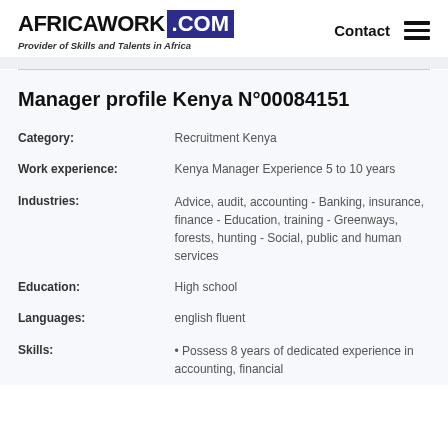AFRICAWORK .COM — Provider of Skills and Talents in Africa | Contact
Manager profile Kenya N°00084151
Category: Recruitment Kenya
Work experience: Kenya Manager Experience 5 to 10 years
Industries: Advice, audit, accounting - Banking, insurance, finance - Education, training - Greenways, forests, hunting - Social, public and human services
Education: High school
Languages: english fluent
Skills: • Possess 8 years of dedicated experience in accounting, financial